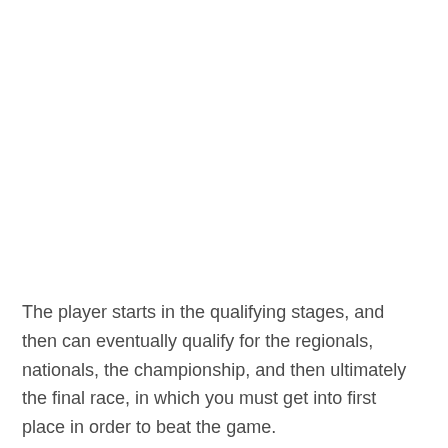The player starts in the qualifying stages, and then can eventually qualify for the regionals, nationals, the championship, and then ultimately the final race, in which you must get into first place in order to beat the game.